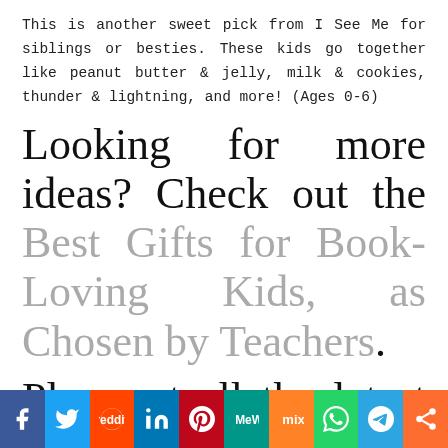This is another sweet pick from I See Me for siblings or besties. These kids go together like peanut butter & jelly, milk & cookies, thunder & lightning, and more! (Ages 0-6)
Looking for more ideas? Check out the Best Gifts for Book-Loving Kids, as Chosen by Teachers.
Plus, get all the latest teacher tips and ideas when you sign up for our free newsletters!
[Figure (infographic): Social media sharing bar with icons for Facebook, Twitter, Reddit, LinkedIn, Pinterest, MeWe, Mix, WhatsApp, Telegram, and Share]